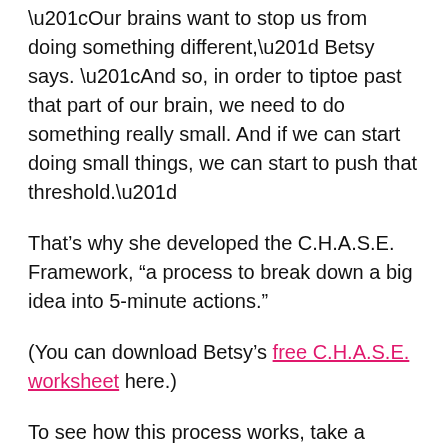“Our brains want to stop us from doing something different,” Betsy says. “And so, in order to tiptoe past that part of our brain, we need to do something really small. And if we can start doing small things, we can start to push that threshold.”
That’s why she developed the C.H.A.S.E. Framework, “a process to break down a big idea into 5-minute actions.”
(You can download Betsy’s free C.H.A.S.E. worksheet here.)
To see how this process works, take a dream you’ve always had—like going on that amazing vacation. What is  preventing you from doing it?